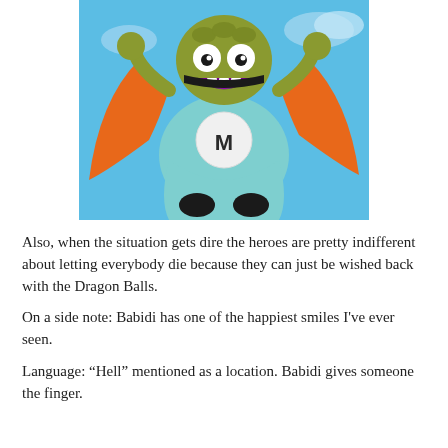[Figure (illustration): Anime cartoon character Babidi from Dragon Ball Z, depicted floating/jumping with a wide open-mouthed happy smile, wearing an orange cape and teal/blue outfit with a white emblem on the chest showing the letter M, against a blue sky background.]
Also, when the situation gets dire the heroes are pretty indifferent about letting everybody die because they can just be wished back with the Dragon Balls.
On a side note: Babidi has one of the happiest smiles I've ever seen.
Language: “Hell” mentioned as a location. Babidi gives someone the finger.